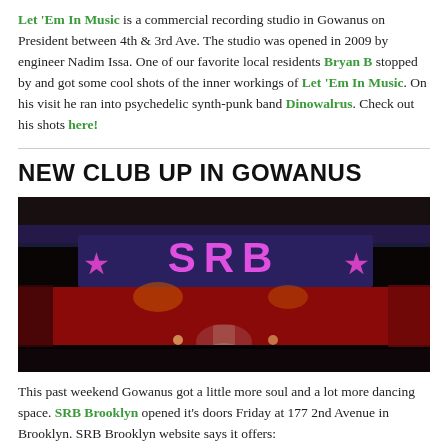Let 'Em In Music is a commercial recording studio in Gowanus on President between 4th & 3rd Ave. The studio was opened in 2009 by  engineer Nadim Issa. One of our favorite local residents Bryan B stopped by and got some cool shots of the inner workings of Let 'Em In Music. On his visit he ran into psychedelic synth-punk band Dinowalrus. Check out his shots here!
NEW CLUB UP IN GOWANUS
[Figure (photo): Interior of SRB club/venue showing a stage with red lighting. The SRB logo with pink stars is displayed on a banner above the stage. A drum kit is visible on the stage. Dark ambient lighting with blue and purple accents above.]
This past weekend Gowanus got a little more soul and a lot more dancing space. SRB Brooklyn opened it's doors Friday at 177 2nd Avenue in Brooklyn. SRB Brooklyn website says it offers: